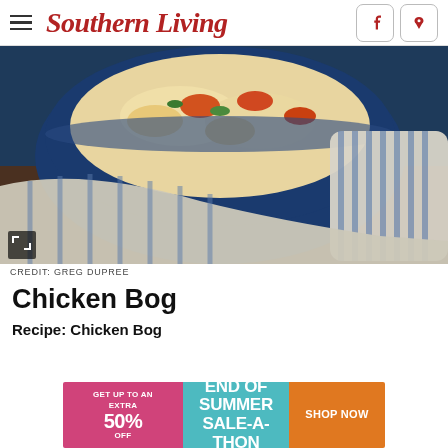Southern Living
[Figure (photo): A blue Dutch oven/casserole dish filled with Chicken Bog (chicken, rice, vegetables), wrapped with a blue-and-white striped kitchen towel, photographed from above on a wooden surface.]
CREDIT: GREG DUPREE
Chicken Bog
Recipe: Chicken Bog
[Figure (infographic): Advertisement banner: GET UP TO AN EXTRA 50% OFF | END OF SUMMER SALE-A-THON | SHOP NOW]